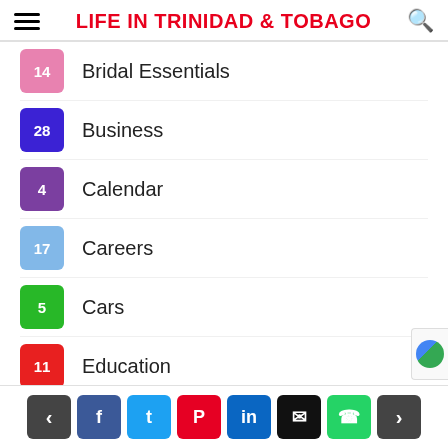LIFE IN TRINIDAD & TOBAGO
14  Bridal Essentials
28  Business
4  Calendar
17  Careers
5  Cars
11  Education
32  Entertainment
33  Family
11  Fashion
28  Food & Drinks
11  Foundation
< f t p in [email] [whatsapp] >